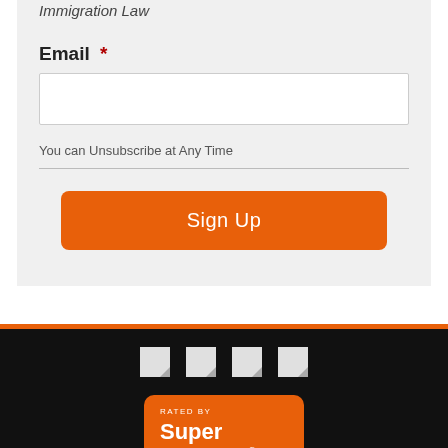Immigration Law
Email *
You can Unsubscribe at Any Time
Sign Up
[Figure (other): Four social media icon placeholders in a row on a black background]
[Figure (other): Rated by Super Lawyers badge for George A. Terezakis on an orange rounded rectangle]